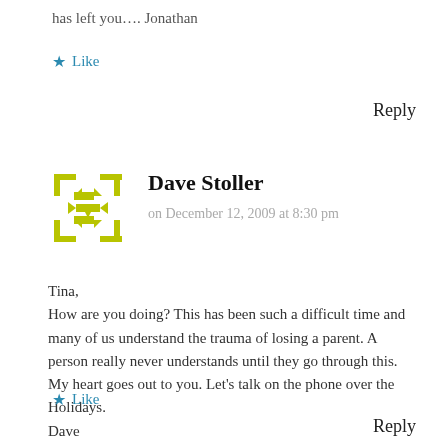has left you…. Jonathan
★ Like
Reply
[Figure (illustration): Yellow/green avatar icon with arrow-like decorative pattern in a square frame]
Dave Stoller
on December 12, 2009 at 8:30 pm
Tina,
How are you doing? This has been such a difficult time and many of us understand the trauma of losing a parent. A person really never understands until they go through this.
My heart goes out to you. Let's talk on the phone over the Holidays.
Dave
★ Like
Reply